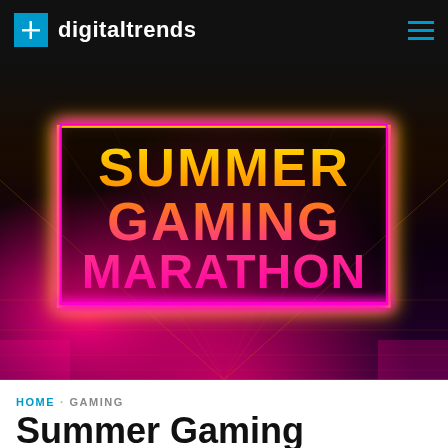digitaltrends
[Figure (illustration): Summer Gaming Marathon neon-style logo on dark retro grid background with yellow-to-pink gradient text reading SUMMER GAMING MARATHON inside a neon bordered rectangle]
HOME · GAMING
Summer Gaming